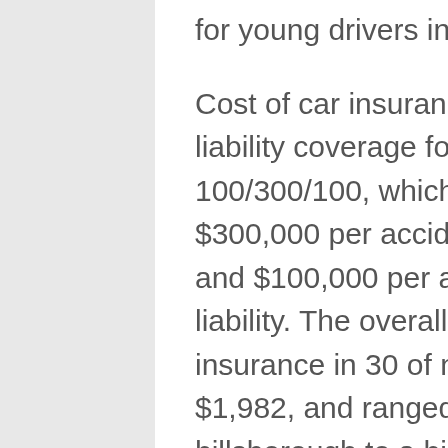for young drivers in new jersey.
Cost of car insurance by gender. The best liability coverage for most drivers is 100/300/100, which is $100,000 per person, $300,000 per accident in bodily injury liability and $100,000 per accident in property damage liability. The overall average cost of car insurance in 30 of new jersey's largest cities is $1,982, and ranged from a low of $1,364 in hillsborough to a high of $2,443 in newark, according to a survey by.
Your auto insurance premiums are dictated by factors other than state lines. Bodily injury liability coverage (per person) $25,000 ($50,000 for injuries resulting in death) bodily injury liability coverage (per accident) $50,000 ($100,000 for injuries resulting in death) property damage liability. Conversely, the expected monthly payments for an auto insurance policy in trenton are above the national average.
Based on the chart above, you can see that car